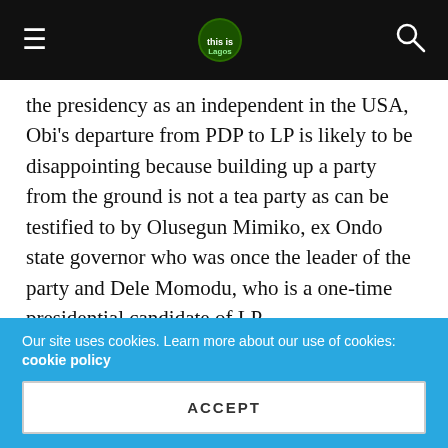This is Lagos — Navigation header with hamburger menu, logo, and search icon
the presidency as an independent in the USA, Obi's departure from PDP to LP is likely to be disappointing because building up a party from the ground is not a tea party as can be testified to by Olusegun Mimiko, ex Ondo state governor who was once the leader of the party and Dele Momodu, who is a one-time presidential candidate of LP.
With respect to APC's delay in organising its presidential primaries, until 6-7 June, which initially suggested that the party had established a pattern of tackiness, shoddiness, and inelegant attitude in political party organisation and laxity in public administration reflected by its vacillation on the date
Our site uses cookies. Learn more about our use of cookies: cookie policy
ACCEPT